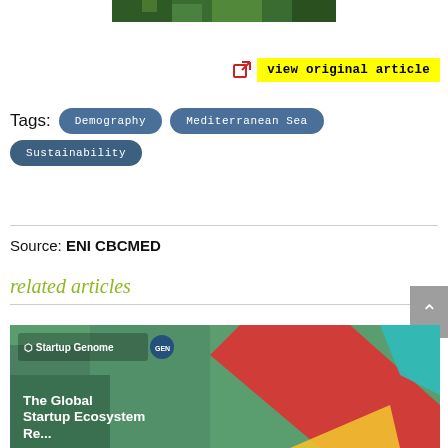[Figure (photo): Partial top edge of a forest/nature photo cropped at top of page]
view original article
Tags: Demography  Mediterranean Sea  Sustainability
Source: ENI CBCMED
related articles
[Figure (photo): The Global Startup Ecosystem Report preview image with Startup Genome logo and colorful graphic overlays on a greenhouse background]